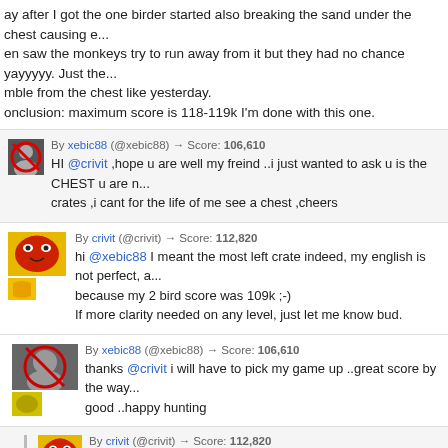ay after I got the one birder started also breaking the sand under the chest causing e... en saw the monkeys try to run away from it but they had no chance yayyyyy. Just the... mble from the chest like yesterday.
onclusion: maximum score is 118-119k I'm done with this one.
By xebic88 (@xebic88) → Score: 106,610
HI @crivit ,hope u are well my freind ..i just wanted to ask u is the CHEST u are n... crates ,i cant for the life of me see a chest ,cheers
By crivit (@crivit) → Score: 112,820
hi @xebic88 I meant the most left crate indeed, my english is not perfect, a... because my 2 bird score was 109k ;-)
If more clarity needed on any level, just let me know bud.
By xebic88 (@xebic88) → Score: 106,610
thanks @crivit i will have to pick my game up ..great score by the way... good ..happy hunting
By crivit (@crivit) → Score: 112,820
@xebic88 yw my wife is from USA so my english should be ok...